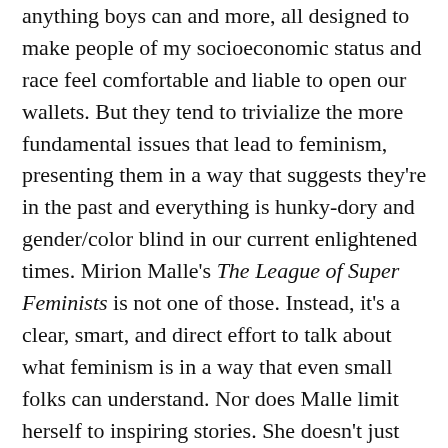anything boys can and more, all designed to make people of my socioeconomic status and race feel comfortable and liable to open our wallets. But they tend to trivialize the more fundamental issues that lead to feminism, presenting them in a way that suggests they're in the past and everything is hunky-dory and gender/color blind in our current enlightened times. Mirion Malle's The League of Super Feminists is not one of those. Instead, it's a clear, smart, and direct effort to talk about what feminism is in a way that even small folks can understand. Nor does Malle limit herself to inspiring stories. She doesn't just slap on a drawing of a dissent collar and call it a day.
Like a lot of nonfiction comics that attempt to explain something rather than presenting a narrative, Malle's book relies on a narrator, the author herself in this…